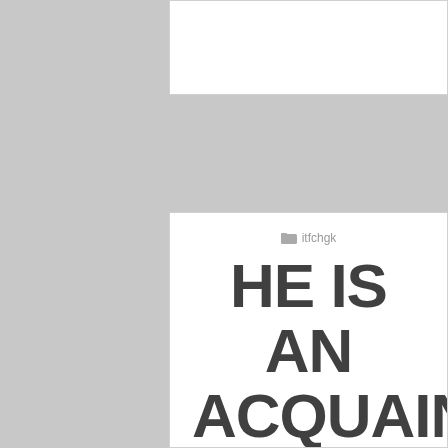[Figure (other): White card/box at the top of the page]
itfchgk
HE IS AN ACQUAINTANCE OF MU GUISHU✗ AT THIS TIME, OF COURSE YOU HAVE TO MOVE TOWARDS MU